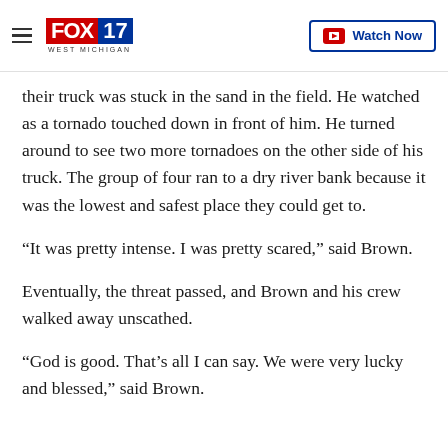FOX 17 WEST MICHIGAN | Watch Now
their truck was stuck in the sand in the field. He watched as a tornado touched down in front of him. He turned around to see two more tornadoes on the other side of his truck. The group of four ran to a dry river bank because it was the lowest and safest place they could get to.
“It was pretty intense. I was pretty scared,” said Brown.
Eventually, the threat passed, and Brown and his crew walked away unscathed.
“God is good. That’s all I can say. We were very lucky and blessed,” said Brown.